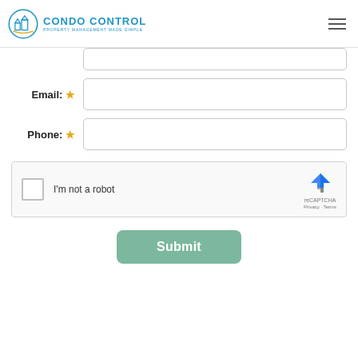[Figure (logo): Condo Control logo with building icon and text 'CONDO CONTROL - PROPERTY MANAGEMENT MADE SIMPLE']
Email: *
Phone: *
[Figure (other): reCAPTCHA widget with checkbox labeled 'I'm not a robot' and reCAPTCHA branding with Privacy and Terms links]
Submit